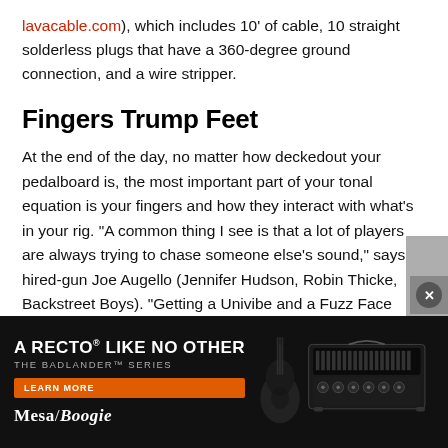lavacable.com), which includes 10' of cable, 10 straight solderless plugs that have a 360-degree ground connection, and a wire stripper.
Fingers Trump Feet
At the end of the day, no matter how deckedout your pedalboard is, the most important part of your tonal equation is your fingers and how they interact with what's in your rig. "A common thing I see is that a lot of players are always trying to chase someone else's sound," says hired-gun Joe Augello (Jennifer Hudson, Robin Thicke, Backstreet Boys). "Getting a Univibe and a Fuzz Face because Jimi Hendrix used them isn't going to make you sound like him. Guys like Jimi and Eddie Van Halen were innovators and always experimented with their gear. They weren't... time. It's imp... urself apart...
[Figure (advertisement): Mesa/Boogie advertisement for the Badlander Series amplifier. Black background with white text 'A RECTO LIKE NO OTHER THE BADLANDER SERIES', orange Learn More button, Mesa/Boogie logo, and image of guitar amplifier head with guitar.]